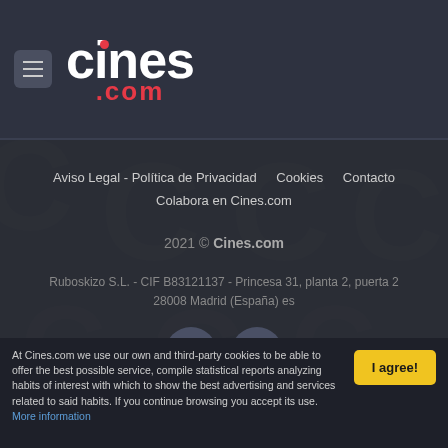[Figure (logo): Cines.com logo with hamburger menu icon. White 'cines' text with red dot above 'i', red '.com' underneath.]
Aviso Legal - Política de Privacidad   Cookies   Contacto
Colabora en Cines.com
2021 © Cines.com
Ruboskizo S.L. - CIF B83121137 - Princesa 31, planta 2, puerta 2 28008 Madrid (España) es
[Figure (illustration): Twitter and Facebook social media icon buttons, circular dark grey buttons with white bird and f icons.]
At Cines.com we use our own and third-party cookies to be able to offer the best possible service, compile statistical reports analyzing habits of interest with which to show the best advertising and services related to said habits. If you continue browsing you accept its use. More information